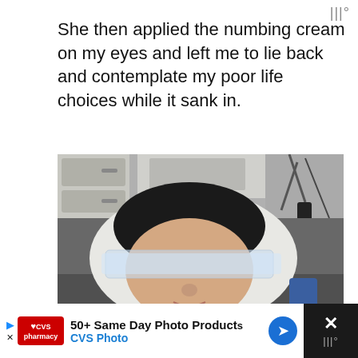|||°
She then applied the numbing cream on my eyes and left me to lie back and contemplate my poor life choices while it sank in.
[Figure (photo): Person lying back with white towel around head and clear plastic wrap covering their closed eyes, in what appears to be a medical or beauty clinic setting. Equipment visible in background.]
50+ Same Day Photo Products CVS Photo